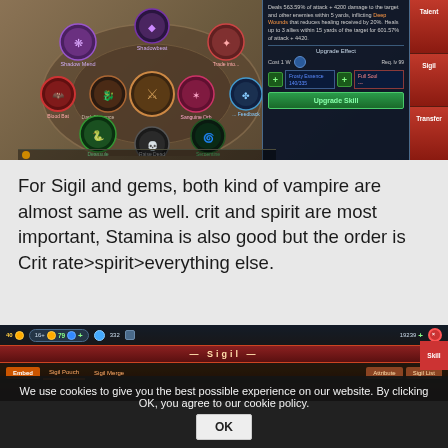[Figure (screenshot): Game screenshot showing a skill wheel UI with various ability icons (Shadow Mend, Shadowbeat, Dark Elegance, Sanguine Orb, Raise Dead, Serpentine, etc.) and an info panel on the right showing skill details, upgrade effect, cost, and an Upgrade Skill button. Side buttons for Talent, Sigil, Transfer are visible.]
For Sigil and gems, both kind of vampire are almost same as well. crit and spirit are most important, Stamina is also good but the order is Crit rate>spirit>everything else.
[Figure (screenshot): Game screenshot showing a Sigil UI with top stats bar (level 40, gems, 332, 19239+), a red banner with 'Sigil' title, navigation tabs (Embed, Sigil Pouch, Sigil Merge) and attribute/sigil list tabs. A Skill button is on the right side.]
We use cookies to give you the best possible experience on our website. By clicking OK, you agree to our cookie policy.